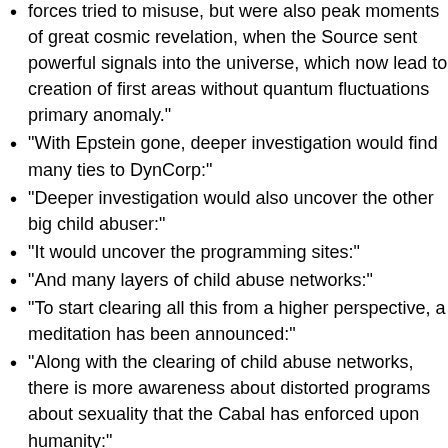forces tried to misuse, but were also peak moments of great cosmic revelation, when the Source sent powerful signals into the universe, which now lead to creation of first areas without quantum fluctuations primary anomaly.”
“With Epstein gone, deeper investigation would find many ties to DynCorp:”
“Deeper investigation would also uncover the other big child abuser:”
“It would uncover the programming sites:”
“And many layers of child abuse networks:”
“To start clearing all this from a higher perspective, a meditation has been announced:”
“Along with the clearing of child abuse networks, there is more awareness about distorted programs about sexuality that the Cabal has enforced upon humanity:”
“Meanwhile, the Cabal is leading a campaign against the healthy, assertive masculine principle that…